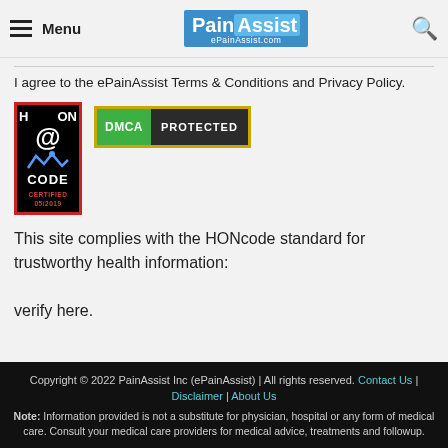Menu | PainAssist ePainAssist.com
I agree to the ePainAssist Terms & Conditions and Privacy Policy.
[Figure (logo): HON CODE CERTIFIED 05/2019 badge (red border, black background) and DMCA PROTECTED badge (gold border, green and dark background)]
This site complies with the HONcode standard for trustworthy health information: verify here.
Copyright © 2022 PainAssist Inc (ePainAssist) | All rights reserved. Contact Us | Disclaimer | About Us
Note: Information provided is not a substitute for physician, hospital or any form of medical care. Consult your medical care providers for medical advice, treatments and followup.